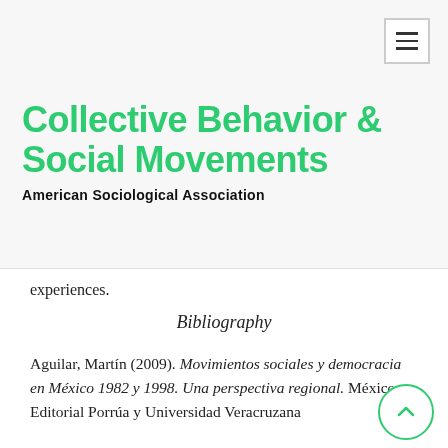Collective Behavior & Social Movements — American Sociological Association
experiences.
Bibliography
Aguilar, Martín (2009). Movimientos sociales y democracia en México 1982 y 1998. Una perspectiva regional. México: Editorial Porrúa y Universidad Veracruzana
Albertani, C. and Aguilar Mora, M. (2015). La Noche de Iguala y el despertar de México.